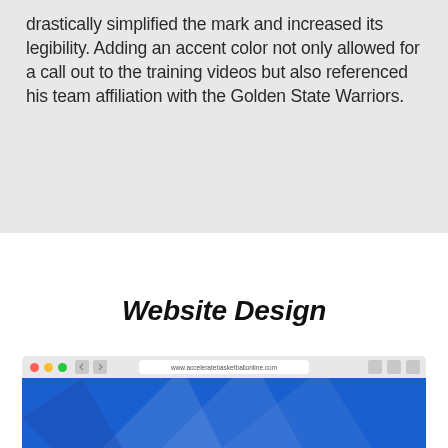drastically simplified the mark and increased its legibility. Adding an accent color not only allowed for a call out to the training videos but also referenced his team affiliation with the Golden State Warriors.
Website Design
[Figure (screenshot): Browser screenshot showing a website with blue background, URL bar displaying www.acceleratebasketballonline.com, with MacOS-style traffic light buttons and navigation controls visible in the browser chrome.]